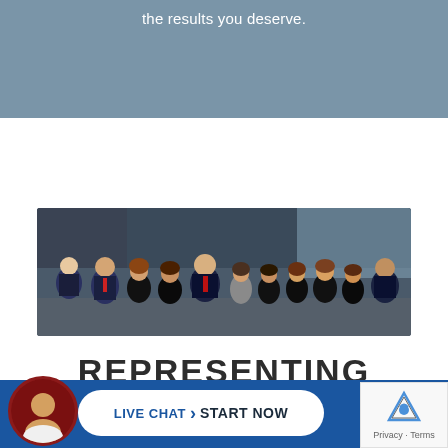the results you deserve.
[Figure (photo): Group photo of law firm team members, approximately 11 people in professional attire standing together indoors]
REPRESENTING INJURED PLAINTIFFS
LIVE CHAT › START NOW
[Figure (photo): Circular avatar photo of a man, lawyer/attorney headshot]
[Figure (logo): reCAPTCHA logo with Privacy and Terms text]